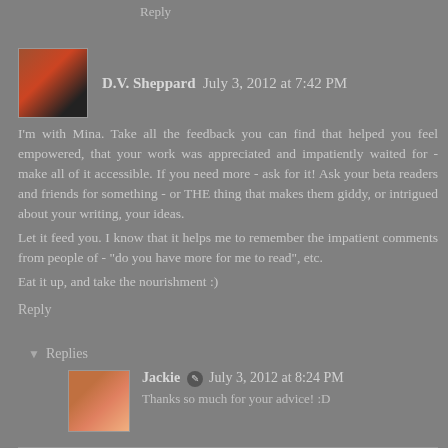Reply
D.V. Sheppard  July 3, 2012 at 7:42 PM
I'm with Mina. Take all the feedback you can find that helped you feel empowered, that your work was appreciated and impatiently waited for - make all of it accessible. If you need more - ask for it! Ask your beta readers and friends for something - or THE thing that makes them giddy, or intrigued about your writing, your ideas.
Let it feed you. I know that it helps me to remember the impatient comments from people of - "do you have more for me to read", etc.
Eat it up, and take the nourishment :)
Reply
Replies
Jackie  July 3, 2012 at 8:24 PM
Thanks so much for your advice! :D